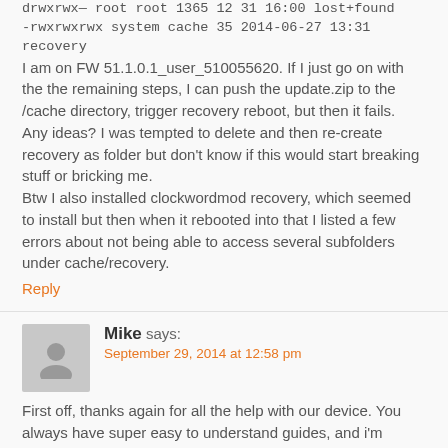drwxrwx— root root 1365 12 31 16:00 lost+found
-rwxrwxrwx system cache 35 2014-06-27 13:31 recovery
I am on FW 51.1.0.1_user_510055620. If I just go on with the the remaining steps, I can push the update.zip to the /cache directory, trigger recovery reboot, but then it fails.
Any ideas? I was tempted to delete and then re-create recovery as folder but don't know if this would start breaking stuff or bricking me.
Btw I also installed clockwordmod recovery, which seemed to install but then when it rebooted into that I listed a few errors about not being able to access several subfolders under cache/recovery.
Reply
Mike says:
September 29, 2014 at 12:58 pm
First off, thanks again for all the help with our device. You always have super easy to understand guides, and i'm psyched to get CWM installed :)
I see that we're chmod'ing /cache and /cache/recovery to 777